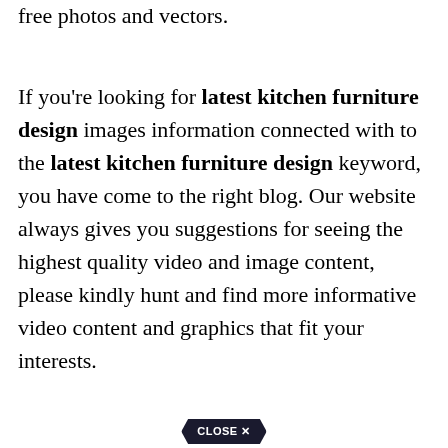free photos and vectors.
If you're looking for latest kitchen furniture design images information connected with to the latest kitchen furniture design keyword, you have come to the right blog. Our website always gives you suggestions for seeing the highest quality video and image content, please kindly hunt and find more informative video content and graphics that fit your interests.